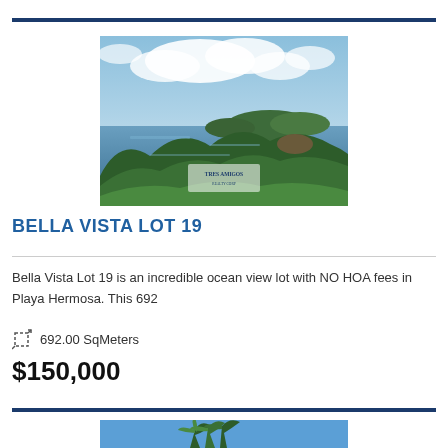[Figure (photo): Aerial/elevated view of tropical ocean bay with lush green trees in foreground, blue water, islands in background, partly cloudy sky. Tres Amigos realty logo watermark in lower center.]
BELLA VISTA LOT 19
Bella Vista Lot 19 is an incredible ocean view lot with NO HOA fees in Playa Hermosa. This 692
692.00 SqMeters
$150,000
[Figure (photo): Tropical palm trees against blue sky, partially visible at bottom of page.]